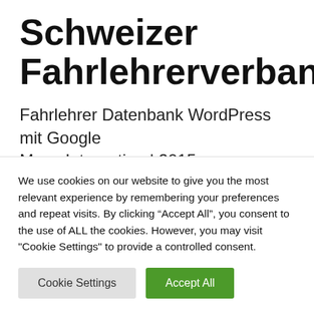Schweizer Fahrlehrerverband
Fahrlehrer Datenbank WordPress mit Google Maps Integration | 2015
We use cookies on our website to give you the most relevant experience by remembering your preferences and repeat visits. By clicking “Accept All”, you consent to the use of ALL the cookies. However, you may visit "Cookie Settings" to provide a controlled consent.